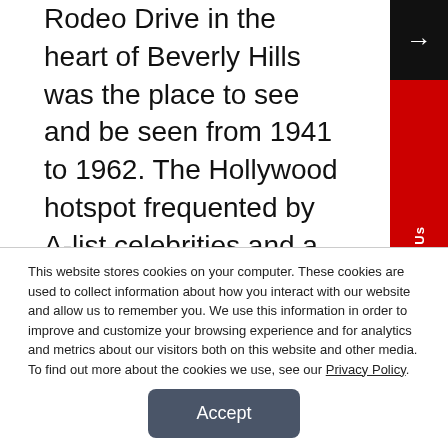Rodeo Drive in the heart of Beverly Hills was the place to see and be seen from 1941 to 1962. The Hollywood hotspot frequented by A-list celebrities and a regular award show viewing location is shrouded in mysterious history and the dubious past of owner, actor, and con man, Michael Romanoff, or Herschel Geguzin by birth.
Michael Romanoff claimed to be a member of the Russian nobility, the House of Romanov, for centuries...
This website stores cookies on your computer. These cookies are used to collect information about how you interact with our website and allow us to remember you. We use this information in order to improve and customize your browsing experience and for analytics and metrics about our visitors both on this website and other media. To find out more about the cookies we use, see our Privacy Policy.